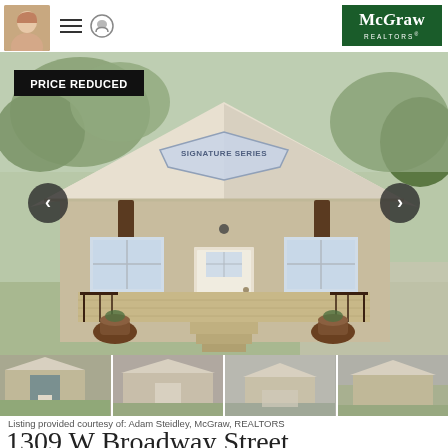McGraw REALTORS
[Figure (photo): Front exterior of a craftsman-style home with covered front porch, wooden posts, wooden deck stairs, and a 'Signature Series' sign on the gable. 'PRICE REDUCED' badge in upper left corner. Navigation arrows on left and right sides.]
[Figure (photo): Thumbnail strip showing 4 smaller property photos]
Listing provided courtesy of: Adam Steidley, McGraw, REALTORS
1309 W Broadway Street